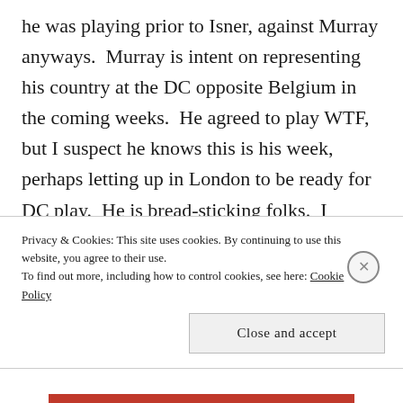he was playing prior to Isner, against Murray anyways.  Murray is intent on representing his country at the DC opposite Belgium in the coming weeks.  He agreed to play WTF, but I suspect he knows this is his week, perhaps letting up in London to be ready for DC play.  He is bread-sticking folks.  I thought Coric looked decent vs. Verdasco (although Verdasco might have been up all night), but Andy destroyed the Croat before practically handing Goffin whom
Privacy & Cookies: This site uses cookies. By continuing to use this website, you agree to their use.
To find out more, including how to control cookies, see here: Cookie Policy
Close and accept